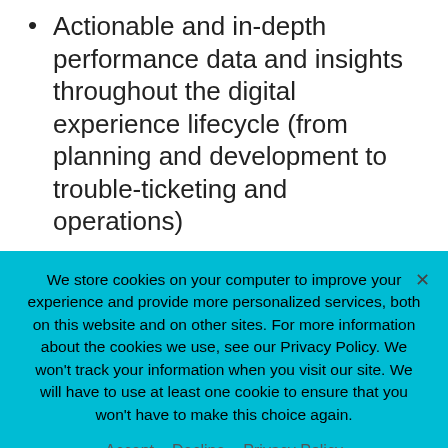Actionable and in-depth performance data and insights throughout the digital experience lifecycle (from planning and development to trouble-ticketing and operations)
Continuous monitoring of KPIs and performance metrics
Support for native Appium, Selenium, and all automation frameworks
Parallel testing across devices and locations
We store cookies on your computer to improve your experience and provide more personalized services, both on this website and on other sites. For more information about the cookies we use, see our Privacy Policy. We won't track your information when you visit our site. We will have to use at least one cookie to ensure that you won't have to make this choice again.
Accept   Decline   Privacy Policy